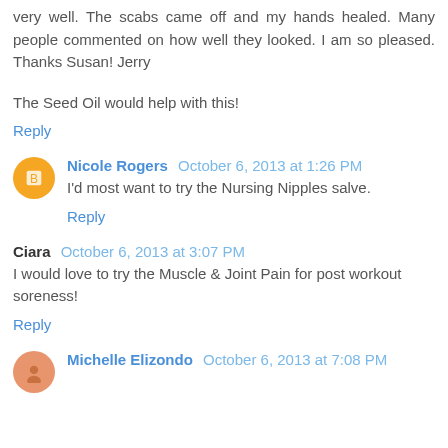very well. The scabs came off and my hands healed. Many people commented on how well they looked. I am so pleased. Thanks Susan! Jerry
The Seed Oil would help with this!
Reply
Nicole Rogers  October 6, 2013 at 1:26 PM
I'd most want to try the Nursing Nipples salve.
Reply
Ciara  October 6, 2013 at 3:07 PM
I would love to try the Muscle & Joint Pain for post workout soreness!
Reply
Michelle Elizondo  October 6, 2013 at 7:08 PM